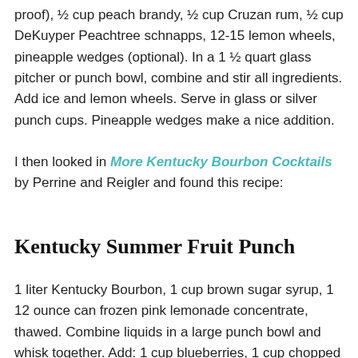proof), ½ cup peach brandy, ½ cup Cruzan rum, ½ cup DeKuyper Peachtree schnapps, 12-15 lemon wheels, pineapple wedges (optional). In a 1 ½ quart glass pitcher or punch bowl, combine and stir all ingredients. Add ice and lemon wheels. Serve in glass or silver punch cups. Pineapple wedges make a nice addition.
I then looked in More Kentucky Bourbon Cocktails by Perrine and Reigler and found this recipe:
Kentucky Summer Fruit Punch
1 liter Kentucky Bourbon, 1 cup brown sugar syrup, 1 12 ounce can frozen pink lemonade concentrate, thawed. Combine liquids in a large punch bowl and whisk together. Add: 1 cup blueberries, 1 cup chopped pineapple, 1 cup sliced strawberries, I cup